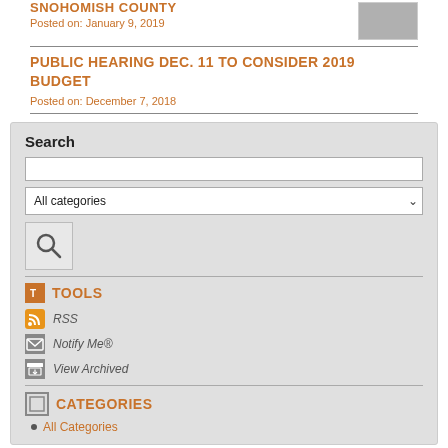SNOHOMISH COUNTY
Posted on: January 9, 2019
PUBLIC HEARING DEC. 11 TO CONSIDER 2019 BUDGET
Posted on: December 7, 2018
Search
TOOLS
RSS
Notify Me®
View Archived
CATEGORIES
All Categories